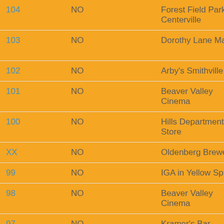| # | Vote | Location | Brand |
| --- | --- | --- | --- |
| 104 | NO | Forest Field Park, Centerville | DH3 ... |
| 103 | NO | Dorothy Lane Market | New Firec... |
| 102 | NO | Arby's Smithville | DH3 ... |
| 101 | NO | Beaver Valley Cinema | DH3 ... |
| 100 | NO | Hills Department Store | DH3 ... |
| XX | NO | Oldenberg Brewery | DH3 ... |
| 99 | NO | IGA in Yellow Springs | Austr... |
| 98 | NO | Beaver Valley Cinema | DH3 ... |
| 97 | NO | Kramer's Bar | Virgin... |
| 96 | NO | MacDigger's Pub Centerville | Mothe... Hash... |